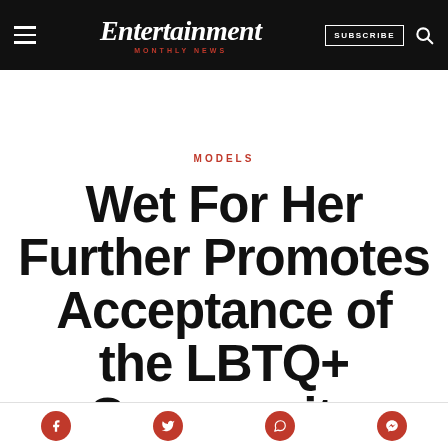Entertainment Monthly News — SUBSCRIBE
MODELS
Wet For Her Further Promotes Acceptance of the LBTQ+ Community Through Inclusive
Social share icons: Facebook, Twitter, WhatsApp, Messenger